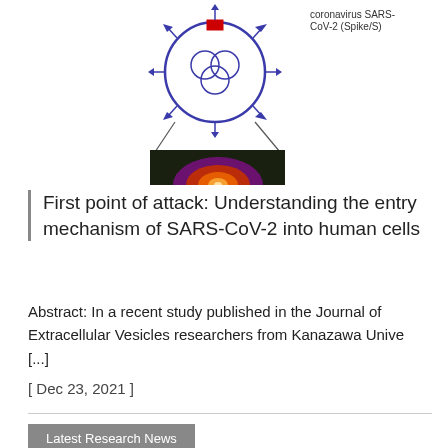[Figure (illustration): Diagram showing SARS-CoV-2 coronavirus with spike proteins (labeled 'coronavirus SARS-CoV-2 (Spike/S)') above a dark microscopy image showing an orange/purple thermal or fluorescence image of a cell or vesicle.]
First point of attack: Understanding the entry mechanism of SARS-CoV-2 into human cells
Abstract: In a recent study published in the Journal of Extracellular Vesicles researchers from Kanazawa Unive [...]
[ Dec 23, 2021 ]
Latest Research News